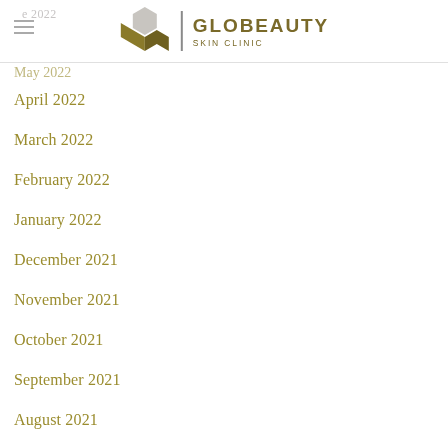GLOBEAUTY SKIN CLINIC
May 2022
April 2022
March 2022
February 2022
January 2022
December 2021
November 2021
October 2021
September 2021
August 2021
July 2021